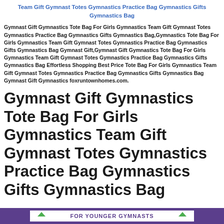Team Gift Gymnast Totes Gymnastics Practice Bag Gymnastics Gifts Gymnastics Bag
Gymnast Gift Gymnastics Tote Bag For Girls Gymnastics Team Gift Gymnast Totes Gymnastics Practice Bag Gymnastics Gifts Gymnastics Bag,Gymnastics Tote Bag For Girls Gymnastics Team Gift Gymnast Totes Gymnastics Practice Bag Gymnastics Gifts Gymnastics Bag Gymnast Gift,Gymnast Gift Gymnastics Tote Bag For Girls Gymnastics Team Gift Gymnast Totes Gymnastics Practice Bag Gymnastics Gifts Gymnastics Bag Effortless Shopping Best Price Tote Bag For Girls Gymnastics Team Gift Gymnast Totes Gymnastics Practice Bag Gymnastics Gifts Gymnastics Bag Gymnast Gift Gymnastics foxruntownhomes.com.
Gymnast Gift Gymnastics Tote Bag For Girls Gymnastics Team Gift Gymnast Totes Gymnastics Practice Bag Gymnastics Gifts Gymnastics Bag
[Figure (other): Purple banner footer with centered white box containing 'FOR YOUNGER GYMNASTS' text in purple and green triangle decorations on each side]